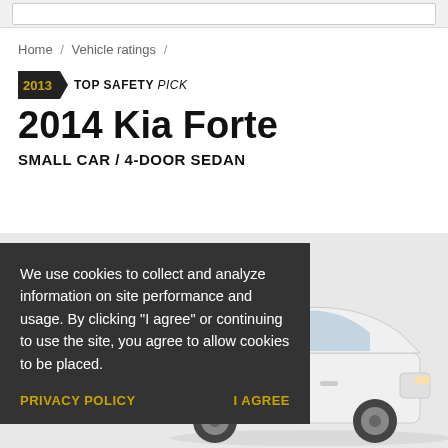Home / Vehicle ratings /
[Figure (logo): 2013 TOP SAFETY PICK badge — black pentagon-arrow shape with gold '2013' year and bold 'TOP SAFETY PICK' text]
2014 Kia Forte
SMALL CAR / 4-DOOR SEDAN
[Figure (photo): White 2014 Kia Forte 4-door sedan photographed from the side against a light gray background]
We use cookies to collect and analyze information on site performance and usage. By clicking "I agree" or continuing to use the site, you agree to allow cookies to be placed.
PRIVACY POLICY    I AGREE